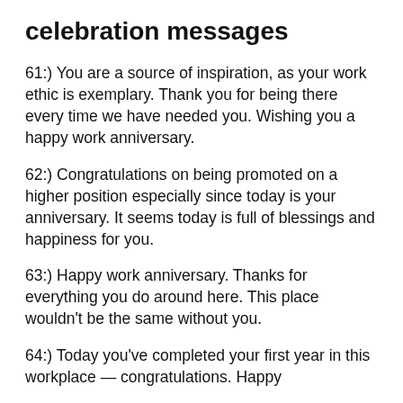celebration messages
61:) You are a source of inspiration, as your work ethic is exemplary. Thank you for being there every time we have needed you. Wishing you a happy work anniversary.
62:) Congratulations on being promoted on a higher position especially since today is your anniversary. It seems today is full of blessings and happiness for you.
63:) Happy work anniversary. Thanks for everything you do around here. This place wouldn't be the same without you.
64:) Today you've completed your first year in this workplace — congratulations. Happy